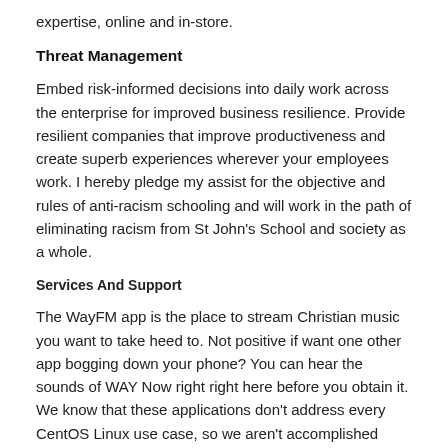expertise, online and in-store.
Threat Management
Embed risk-informed decisions into daily work across the enterprise for improved business resilience. Provide resilient companies that improve productiveness and create superb experiences wherever your employees work. I hereby pledge my assist for the objective and rules of anti-racism schooling and will work in the path of eliminating racism from St John's School and society as a whole.
Services And Support
The WayFM app is the place to stream Christian music you want to take heed to. Not positive if want one other app bogging down your phone? You can hear the sounds of WAY Now right right here before you obtain it. We know that these applications don't address every CentOS Linux use case, so we aren't accomplished delivering extra methods to get RHEL